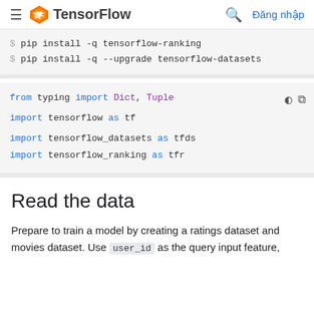TensorFlow — Đăng nhập
$ pip install -q tensorflow-ranking
$ pip install -q --upgrade tensorflow-datasets
from typing import Dict, Tuple

import tensorflow as tf

import tensorflow_datasets as tfds
import tensorflow_ranking as tfr
Read the data
Prepare to train a model by creating a ratings dataset and movies dataset. Use user_id as the query input feature,